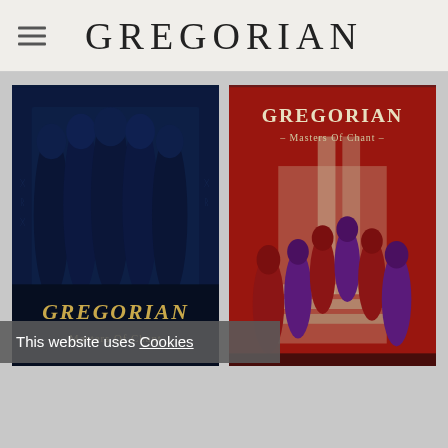GREGORIAN
[Figure (photo): Gregorian Masters Of Chant album cover - robed figures in blue/dark tones]
[Figure (photo): Gregorian Masters Of Chant in Santiago de Compostela album cover - robed figures in red and purple on stone steps]
This website uses Cookies
OK